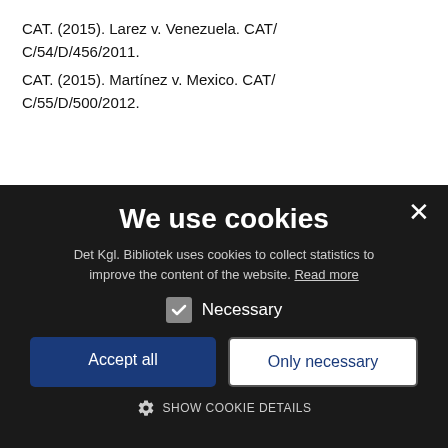CAT. (2015). Larez v. Venezuela. CAT/C/54/D/456/2011.
CAT. (2015). Martínez v. Mexico. CAT/C/55/D/500/2012.
[Figure (screenshot): Cookie consent dialog overlay with dark background. Title 'We use cookies', description text from Det Kgl. Bibliotek, a checked 'Necessary' checkbox, 'Accept all' and 'Only necessary' buttons, and 'SHOW COOKIE DETAILS' link with gear icon. Close X button in top right.]